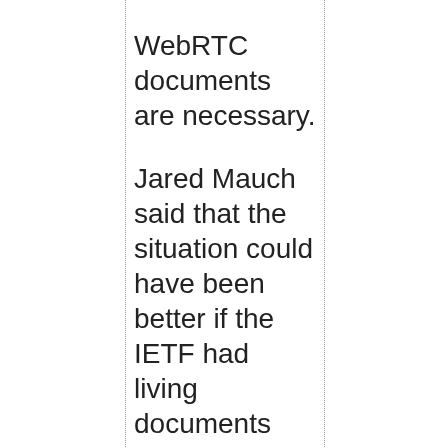WebRTC documents are necessary.
Jared Mauch said that the situation could have been better if the IETF had living documents where references could be updated after publication.
Tommy Pauly